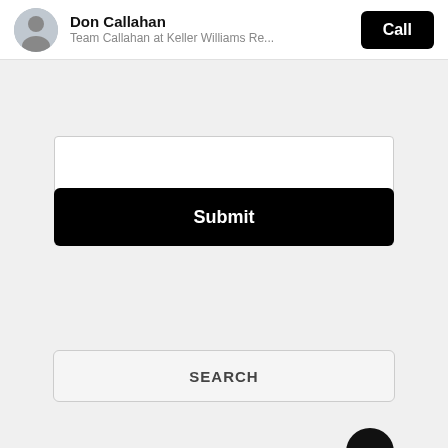Don Callahan
Team Callahan at Keller Williams Re...
[Figure (screenshot): Text area input box (partially visible, empty)]
Submit
[Figure (screenshot): Search input field (empty)]
SEARCH
[Figure (screenshot): Bottom card input area with chat bubble overlay showing 'at_bubb']